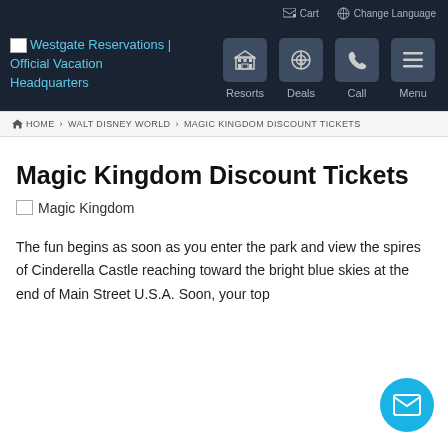Cart  Change Language
[Figure (screenshot): Website navigation header with Westgate Reservations logo and nav icons for Resorts, Deals, Call, Menu]
🏠 HOME › WALT DISNEY WORLD › MAGIC KINGDOM DISCOUNT TICKETS
Magic Kingdom Discount Tickets
[Figure (photo): Magic Kingdom image placeholder]
The fun begins as soon as you enter the park and view the spires of Cinderella Castle reaching toward the bright blue skies at the end of Main Street U.S.A. Soon, your top